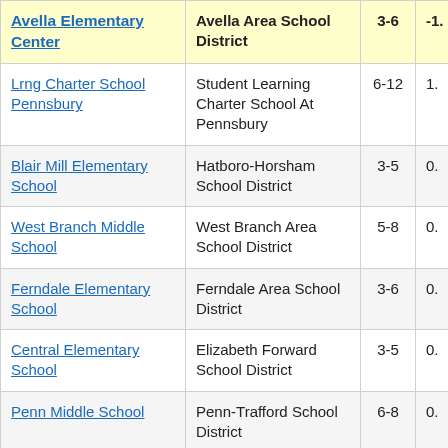| School | District | Grades | Value |
| --- | --- | --- | --- |
| Avella Elementary Center | Avella Area School District | 3-6 | -1. |
| Lrng Charter School Pennsbury | Student Learning Charter School At Pennsbury | 6-12 | 1. |
| Blair Mill Elementary School | Hatboro-Horsham School District | 3-5 | 0. |
| West Branch Middle School | West Branch Area School District | 5-8 | 0. |
| Ferndale Elementary School | Ferndale Area School District | 3-6 | 0. |
| Central Elementary School | Elizabeth Forward School District | 3-5 | 0. |
| Penn Middle School | Penn-Trafford School District | 6-8 | 0. |
| [partial] | [partial] |  |  |